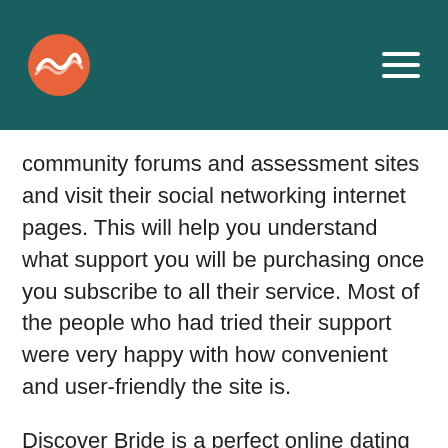[Figure (logo): Orange wave/surfing logo circle on dark teal header background with hamburger menu icon on the right]
community forums and assessment sites and visit their social networking internet pages. This will help you understand what support you will be purchasing once you subscribe to all their service. Most of the people who had tried their support were very happy with how convenient and user-friendly the site is.
Discover Bride is a perfect online dating site for people who are searching for real love in Kiev or any metropolis in the Ukraine. The site features beautiful photos of women coming from different parts of the Ukraine. Enrollment to the web page provides you with instant access to higher than a